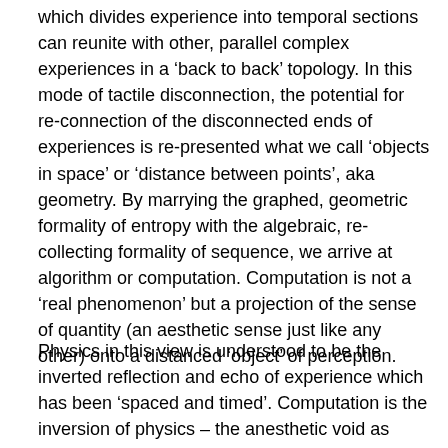which divides experience into temporal sections can reunite with other, parallel complex experiences in a 'back to back' topology. In this mode of tactile disconnection, the potential for re-connection of the disconnected ends of experiences is re-presented what we call 'objects in space' or 'distance between points', aka geometry. By marrying the graphed, geometric formality of entropy with the algebraic, re-collecting formality of sequence, we arrive at algorithm or computation. Computation is not a 'real phenomenon' but a projection of the sense of quantity (an aesthetic sense just like any other) onto a distanced 'object' of perception.
Physics in this view is understood to be the inverted reflection and echo of experience which has been 'spaced and timed'. Computation is the inversion of physics – the anesthetic void as addressable container of